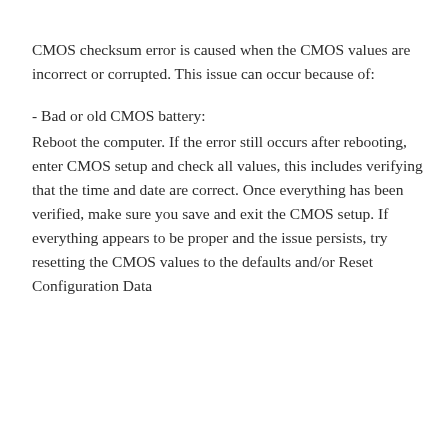CMOS checksum error is caused when the CMOS values are incorrect or corrupted. This issue can occur because of:
- Bad or old CMOS battery: Reboot the computer. If the error still occurs after rebooting, enter CMOS setup and check all values, this includes verifying that the time and date are correct. Once everything has been verified, make sure you save and exit the CMOS setup. If everything appears to be proper and the issue persists, try resetting the CMOS values to the defaults and/or Reset Configuration Data